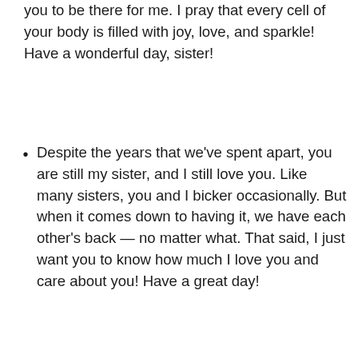you to be there for me. I pray that every cell of your body is filled with joy, love, and sparkle! Have a wonderful day, sister!
Despite the years that we've spent apart, you are still my sister, and I still love you. Like many sisters, you and I bicker occasionally. But when it comes down to having it, we have each other's back — no matter what. That said, I just want you to know how much I love you and care about you! Have a great day!